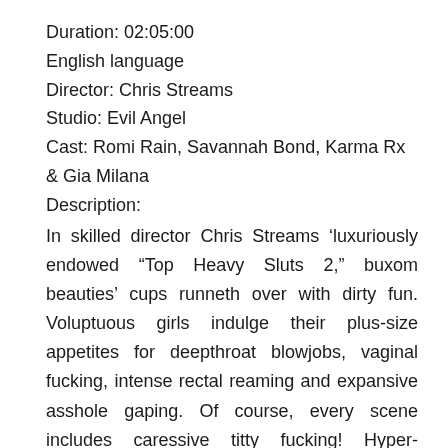Duration: 02:05:00
English language
Director: Chris Streams
Studio: Evil Angel
Cast: Romi Rain, Savannah Bond, Karma Rx & Gia Milana
Description:
In skilled director Chris Streams ‘luxuriously endowed “Top Heavy Sluts 2,” buxom beauties’ cups runneth over with dirty fun. Voluptuous girls indulge their plus-size appetites for deepthroat blowjobs, vaginal fucking, intense rectal reaming and expansive asshole gaping. Of course, every scene includes caressive titty fucking! Hyper-curvaceous Romi Rain splashes her huge jugs in the pool. Markus Dupree gives her a nasty rim job. He fucks her juicy twat and rumbling rear. She squeezes her knockers together for some cleavage cramming. Romi’s thick body spasms as she cums on his thick prick. Extra busty Savannah Bond bounces her cans and pants heavily as Ramon Nomar plays